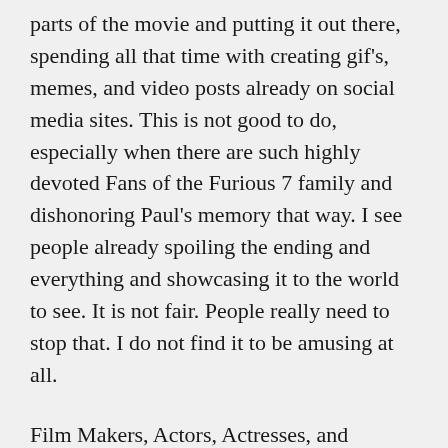parts of the movie and putting it out there, spending all that time with creating gif's, memes, and video posts already on social media sites. This is not good to do, especially when there are such highly devoted Fans of the Furious 7 family and dishonoring Paul's memory that way. I see people already spoiling the ending and everything and showcasing it to the world to see. It is not fair. People really need to stop that. I do not find it to be amusing at all.
Film Makers, Actors, Actresses, and everyone involved in movies work so hard, the production is hard work, very hard. Some people do not realize how much work, time, tons of money and effort is involved in making these films shine, and for them to make to our local movie theaters, then we have people who copy and use their smart phones or whatever device, to record the movie, to blab it out for everybody else is just so insensitive and down right disgraceful to those people